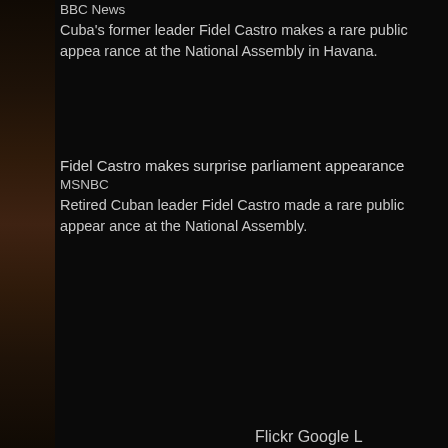BBC News
Cuba's former leader Fidel Castro makes a rare public appearance at the National Assembly in Havana.
Fidel Castro makes surprise parliament appearance
MSNBC
Retired Cuban leader Fidel Castro made a rare public appearance at the National Assembly.
Flickr Google L...
[Figure (other): Loading spinner icon (white spokes on black background)]
Youtube...
[Figure (other): Loading spinner icon (white spokes on black background)]
[Figure (photo): Dark brownish image on the left side of the page, appears to be a partial photo]